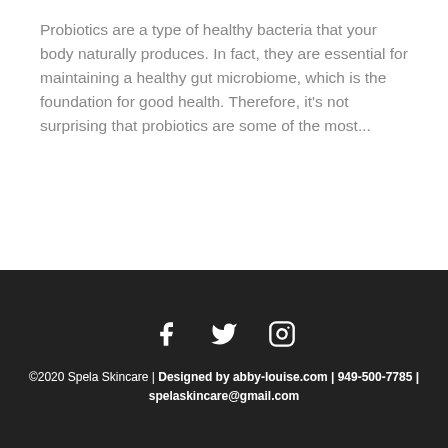Probiotics are a type of healthy bacteria that your body naturally produces. In fact, they are essential for maintaining a healthy gut microbiome, which is the foundation for good health. Therefore, it's not surprising that probiotics are some of the most...
©2020 Spela Skincare | Designed by abby-louise.com | 949-500-7785 | spelaskincare@gmail.com